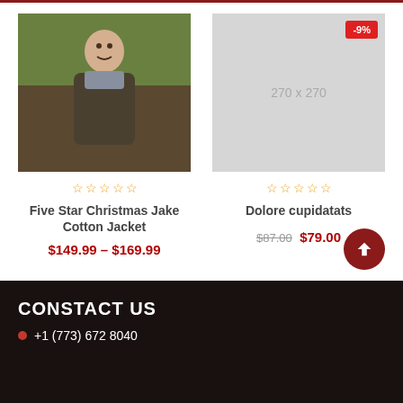[Figure (photo): Man wearing a dark olive jacket and grey scarf, smiling outdoors in autumn setting]
Five Star Christmas Jake Cotton Jacket
$149.99 – $169.99
[Figure (other): Placeholder image 270 x 270 with -9% discount badge]
Dolore cupidatats
$87.00 $79.00
CONSTACT US
+1 (773) 672 8040